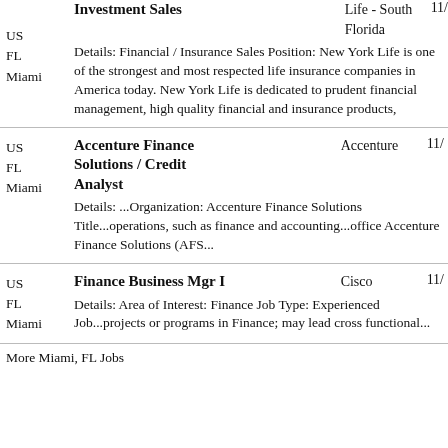Investment Sales | New York Life - South Florida | 11/... | US FL Miami | Details: Financial / Insurance Sales Position: New York Life is one of the strongest and most respected life insurance companies in America today. New York Life is dedicated to prudent financial management, high quality financial and insurance products,
Accenture Finance Solutions / Credit Analyst | Accenture | 11/... | US FL Miami | Details: ...Organization: Accenture Finance Solutions Title...operations, such as finance and accounting...office Accenture Finance Solutions (AFS...
Finance Business Mgr I | Cisco | 11/... | US FL Miami | Details: Area of Interest: Finance Job Type: Experienced Job...projects or programs in Finance; may lead cross functional...
More Miami, FL Jobs